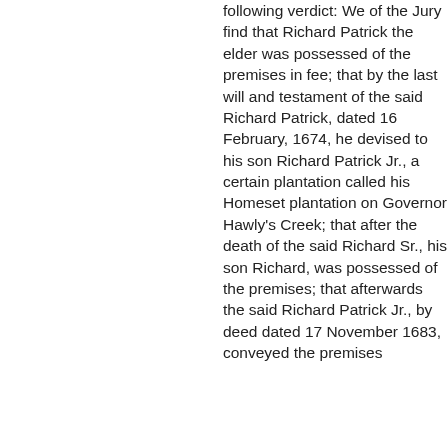following verdict: We of the Jury find that Richard Patrick the elder was possessed of the premises in fee; that by the last will and testament of the said Richard Patrick, dated 16 February, 1674, he devised to his son Richard Patrick Jr., a certain plantation called his Homeset plantation on Governor Hawly's Creek; that after the death of the said Richard Sr., his son Richard, was possessed of the premises; that afterwards the said Richard Patrick Jr., by deed dated 17 November 1683, conveyed the premises